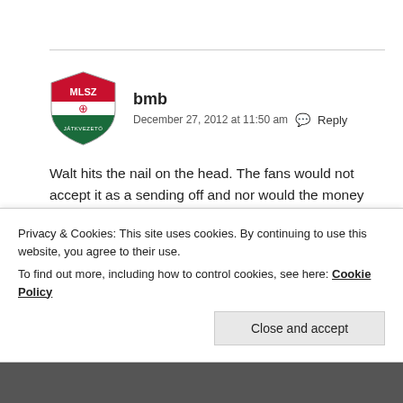[Figure (logo): MLSZ Jákvezető shield/badge logo in red, white, and green]
bmb
December 27, 2012 at 11:50 am  Reply
Walt hits the nail on the head. The fans would not accept it as a sending off and nor would the money men/sky TV etc. The cry “but it’s just swearing”. That is why is has been allowed to creep into the game and has become ‘acceptable’. Forget
Privacy & Cookies: This site uses cookies. By continuing to use this website, you agree to their use.
To find out more, including how to control cookies, see here: Cookie Policy
Close and accept